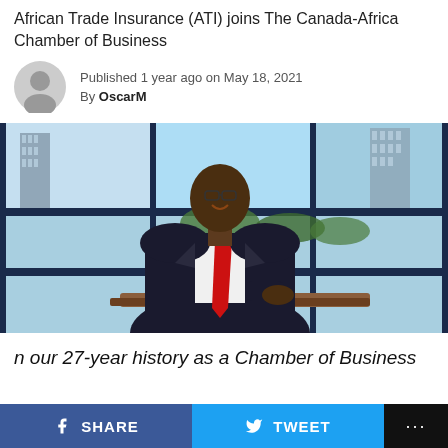African Trade Insurance (ATI) joins The Canada-Africa Chamber of Business
Published 1 year ago on May 18, 2021
By OscarM
[Figure (photo): Professional photo of a man in a dark suit with a red tie, seated and leaning on a desk, smiling, with a city skyline and blue-sky background visible through large office windows behind him.]
n our 27-year history as a Chamber of Business
SHARE   TWEET   ...